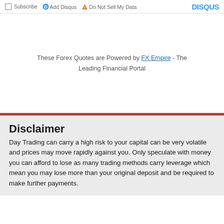Subscribe  Add Disqus  Do Not Sell My Data  DISQUS
These Forex Quotes are Powered by FX Empire - The Leading Financial Portal
Disclaimer
Day Trading can carry a high risk to your capital can be very volatile and prices may move rapidly against you. Only speculate with money you can afford to lose as many trading methods carry leverage which mean you may lose more than your original deposit and be required to make further payments.